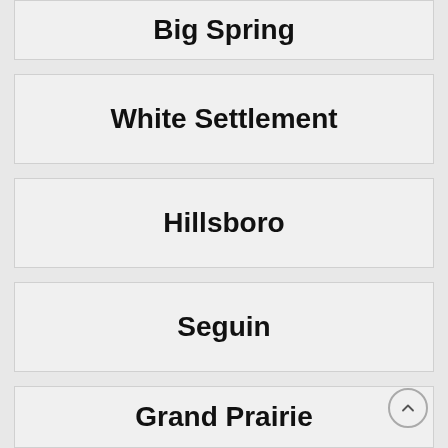Big Spring
White Settlement
Hillsboro
Seguin
Grand Prairie